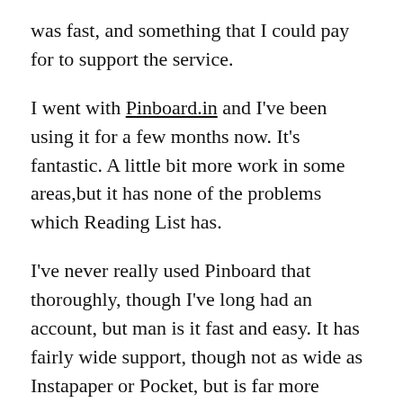was fast, and something that I could pay for to support the service.
I went with Pinboard.in and I've been using it for a few months now. It's fantastic. A little bit more work in some areas,but it has none of the problems which Reading List has.
I've never really used Pinboard that thoroughly, though I've long had an account, but man is it fast and easy. It has fairly wide support, though not as wide as Instapaper or Pocket, but is far more simplistic than either of those.
With Pinner on iOS I am able to use the share sheet in iOS to add links from almost any app